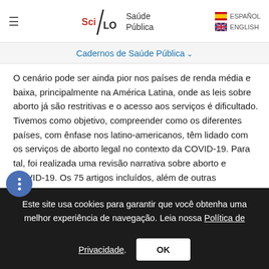SciELO Saúde Pública | ESPAÑOL | ENGLISH
Cadernos de Saúde Pública
O cenário pode ser ainda pior nos países de renda média e baixa, principalmente na América Latina, onde as leis sobre aborto já são restritivas e o acesso aos serviços é dificultado. Tivemos como objetivo, compreender como os diferentes países, com ênfase nos latino-americanos, têm lidado com os serviços de aborto legal no contexto da COVID-19. Para tal, foi realizada uma revisão narrativa sobre aborto e COVID-19. Os 75 artigos incluídos, além de outras referências relevantes, indicam que a pandemia impacta os serviços de saúde sexual e
Este site usa cookies para garantir que você obtenha uma melhor experiência de navegação. Leia nossa Política de Privacidade.